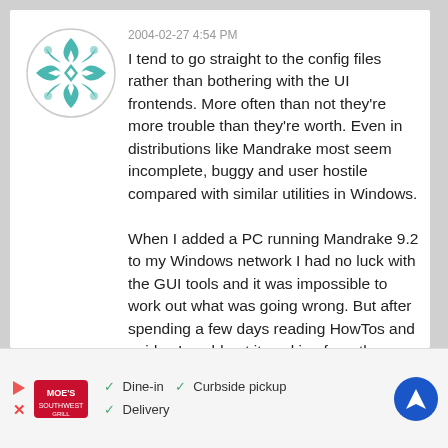[Figure (illustration): Circular avatar with teal/white geometric flower-like pattern on white background with light gray circle border]
2004-02-27 4:54 PM
I tend to go straight to the config files rather than bothering with the UI frontends. More often than not they're more trouble than they're worth. Even in distributions like Mandrake most seem incomplete, buggy and user hostile compared with similar utilities in Windows.

When I added a PC running Mandrake 9.2 to my Windows network I had no luck with the GUI tools and it was impossible to work out what was going wrong. But after spending a few days reading HowTos and guides I could get it working from the command line. I had a similar experience with configuring my graphics cards for a dual headed display and TV-out, the XF86config frontends I tried did nothing but screw up
[Figure (infographic): Advertisement banner for Moe's restaurant showing logo, checkmarks for Dine-in, Curbside pickup, Delivery options, and a blue navigation icon]